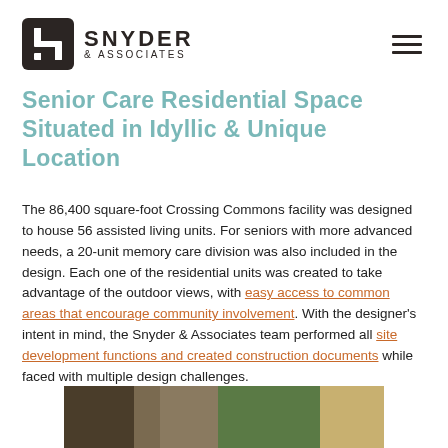[Figure (logo): Snyder & Associates logo with stylized S mark and company name]
Senior Care Residential Space Situated in Idyllic & Unique Location
The 86,400 square-foot Crossing Commons facility was designed to house 56 assisted living units. For seniors with more advanced needs, a 20-unit memory care division was also included in the design. Each one of the residential units was created to take advantage of the outdoor views, with easy access to common areas that encourage community involvement. With the designer's intent in mind, the Snyder & Associates team performed all site development functions and created construction documents while faced with multiple design challenges.
[Figure (photo): Aerial or site photo of Crossing Commons facility showing green landscaping and building layout]